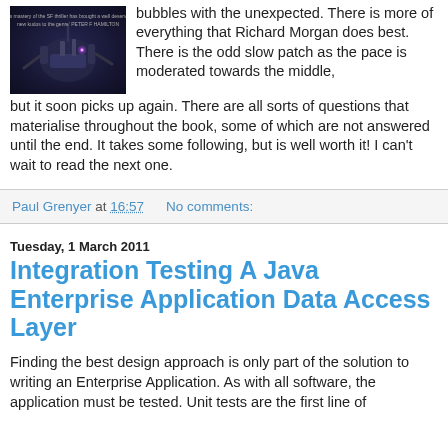[Figure (photo): Book cover with dark sci-fi robot/machinery imagery on dark blue background with quote text overlay]
bubbles with the unexpected. There is more of everything that Richard Morgan does best. There is the odd slow patch as the pace is moderated towards the middle, but it soon picks up again. There are all sorts of questions that materialise throughout the book, some of which are not answered until the end. It takes some following, but is well worth it! I can't wait to read the next one.
Paul Grenyer at 16:57    No comments:
Tuesday, 1 March 2011
Integration Testing A Java Enterprise Application Data Access Layer
Finding the best design approach is only part of the solution to writing an Enterprise Application. As with all software, the application must be tested. Unit tests are the first line of defence...